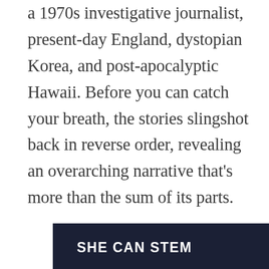a 1970s investigative journalist, present-day England, dystopian Korea, and post-apocalyptic Hawaii. Before you can catch your breath, the stories slingshot back in reverse order, revealing an overarching narrative that's more than the sum of its parts.
Publication Date: March 2004
Amazon | Goodreads | More Info
[Figure (other): Advertisement banner with dark navy background showing text 'SHE CAN STEM' in white bold uppercase letters, with a logo icon in grey on the right side]